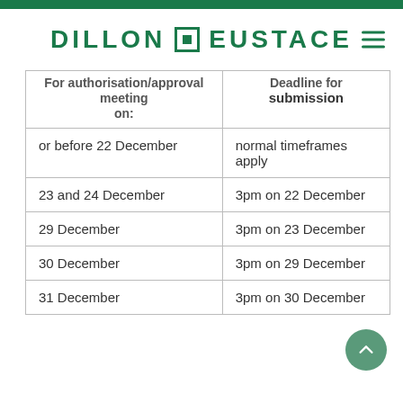DILLON EUSTACE
| For authorisation/approval meeting on: | Deadline for submission |
| --- | --- |
| or before 22 December | normal timeframes apply |
| 23 and 24 December | 3pm on 22 December |
| 29 December | 3pm on 23 December |
| 30 December | 3pm on 29 December |
| 31 December | 3pm on 30 December |